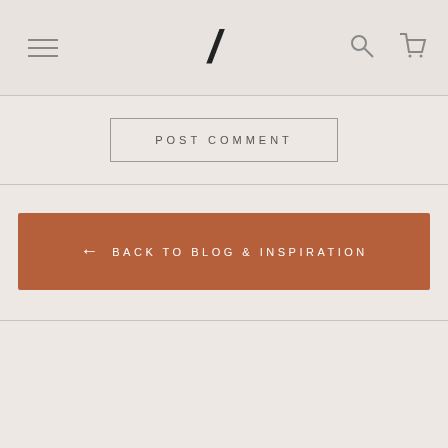Navigation header with menu icon, logo, search and cart icons
POST COMMENT
← BACK TO BLOG & INSPIRATION